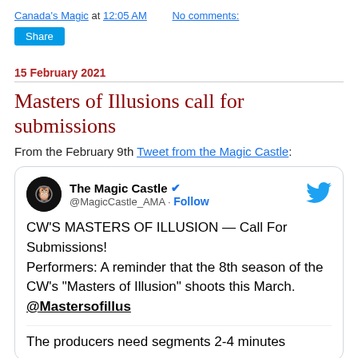Canada's Magic at 12:05 AM   No comments:
Share
15 February 2021
Masters of Illusions call for submissions
From the February 9th Tweet from the Magic Castle:
[Figure (screenshot): Embedded tweet from The Magic Castle (@MagicCastle_AMA) with Twitter bird logo. Tweet text: CW'S MASTERS OF ILLUSION — Call For Submissions! Performers: A reminder that the 8th season of the CW's "Masters of Illusion" shoots this March. @Mastersofillus  The producers need segments 2-4 minutes]